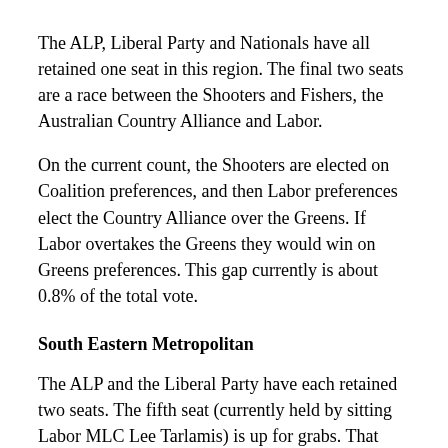The ALP, Liberal Party and Nationals have all retained one seat in this region. The final two seats are a race between the Shooters and Fishers, the Australian Country Alliance and Labor.
On the current count, the Shooters are elected on Coalition preferences, and then Labor preferences elect the Country Alliance over the Greens. If Labor overtakes the Greens they would win on Greens preferences. This gap currently is about 0.8% of the total vote.
South Eastern Metropolitan
The ALP and the Liberal Party have each retained two seats. The fifth seat (currently held by sitting Labor MLC Lee Tarlamis) is up for grabs. That seat is likely to go to the